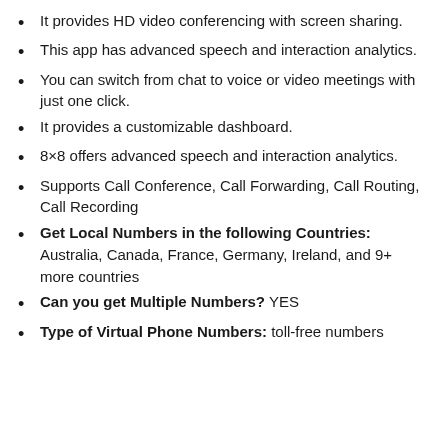It provides HD video conferencing with screen sharing.
This app has advanced speech and interaction analytics.
You can switch from chat to voice or video meetings with just one click.
It provides a customizable dashboard.
8×8 offers advanced speech and interaction analytics.
Supports Call Conference, Call Forwarding, Call Routing, Call Recording
Get Local Numbers in the following Countries: Australia, Canada, France, Germany, Ireland, and 9+ more countries
Can you get Multiple Numbers? YES
Type of Virtual Phone Numbers: toll-free numbers